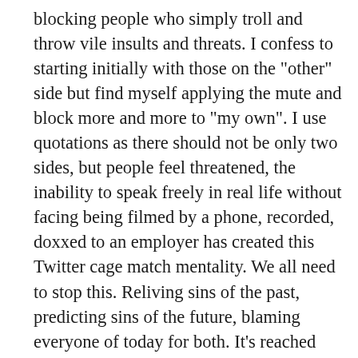blocking people who simply troll and throw vile insults and threats. I confess to starting initially with those on the "other" side but find myself applying the mute and block more and more to "my own". I use quotations as there should not be only two sides, but people feel threatened, the inability to speak freely in real life without facing being filmed by a phone, recorded, doxxed to an employer has created this Twitter cage match mentality. We all need to stop this. Reliving sins of the past, predicting sins of the future, blaming everyone of today for both. It's reached levels of insanity. Maybe switching to decaf will amp things down, lol, but we need to stop trying to dismantle everyone else's opinions, beliefs, and thoughts. 99.9% of us are not legislators. The opinions of others have no power over us but we act as if